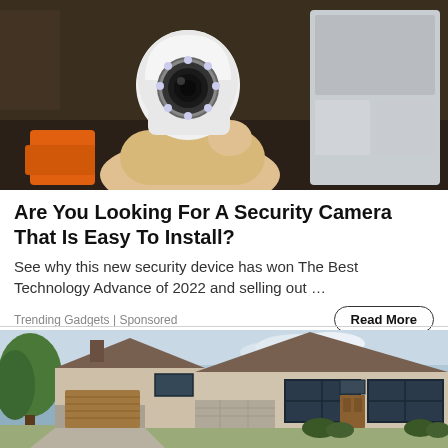[Figure (photo): A hand holding a small white security camera with a round lens surrounded by LED lights, with packaging visible in the background]
Are You Looking For A Security Camera That Is Easy To Install?
See why this new security device has won The Best Technology Advance of 2022 and selling out …
Trending Gadgets | Sponsored
Read More
[Figure (photo): A modern two-story house with stone accents, large dark-framed windows, a brown garage door, and trees in the background]